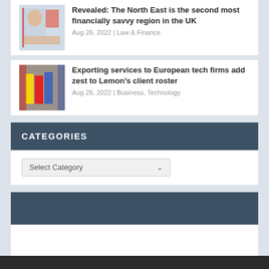[Figure (photo): UK map infographic thumbnail showing North East region highlighted]
Revealed: The North East is the second most financially savvy region in the UK
Aug 26, 2022 | Law & Finance
[Figure (photo): Photo of people with UK flags in a tech/business setting]
Exporting services to European tech firms add zest to Lemon's client roster
Aug 26, 2022 | Business, Technology
CATEGORIES
Select Category